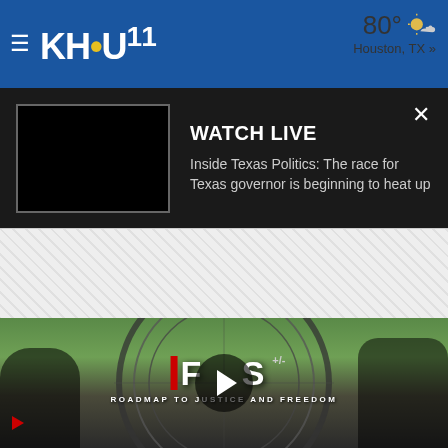KHOU 11 — 80° Houston, TX »
WATCH LIVE
Inside Texas Politics: The race for Texas governor is beginning to heat up
[Figure (photo): Video thumbnail placeholder (black rectangle) for KHOU 11 Watch Live stream]
[Figure (photo): News video still showing protest rally with FOCUS +/- ROADMAP TO JUSTICE AND FREEDOM logo overlay and play button. Crowds gathered outdoors with trees in background.]
ROADMAP TO JUSTICE AND FREEDOM